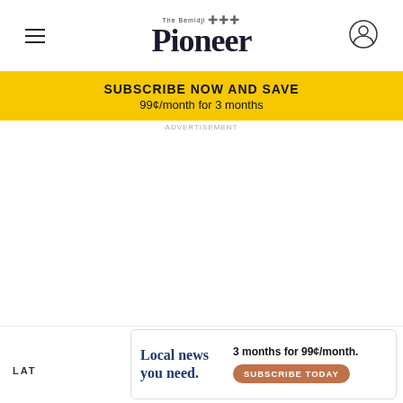The Bemidji Pioneer
SUBSCRIBE NOW AND SAVE
99¢/month for 3 months
ADVERTISEMENT
LAT
Local news you need.
3 months for 99¢/month.
SUBSCRIBE TODAY